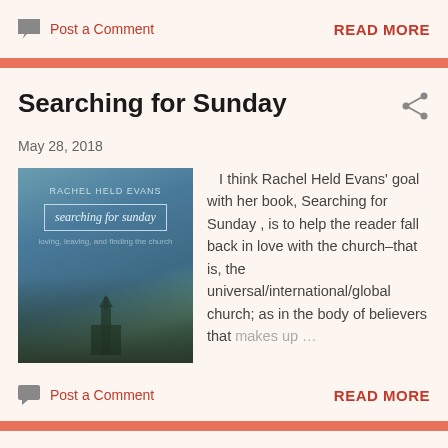Post a Comment    READ MORE
Searching for Sunday
May 28, 2018
[Figure (illustration): Book cover of 'Searching for Sunday' by Rachel Held Evans, showing a moody sky with a church silhouette at the bottom]
I think Rachel Held Evans' goal with her book, Searching for Sunday , is to help the reader fall back in love with the church–that is, the universal/international/global church; as in the body of believers that makes up …
Post a Comment    READ MORE
The Heart Between Us